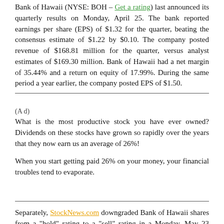Bank of Hawaii (NYSE: BOH – Get a rating) last announced its quarterly results on Monday, April 25. The bank reported earnings per share (EPS) of $1.32 for the quarter, beating the consensus estimate of $1.22 by $0.10. The company posted revenue of $168.81 million for the quarter, versus analyst estimates of $169.30 million. Bank of Hawaii had a net margin of 35.44% and a return on equity of 17.99%. During the same period a year earlier, the company posted EPS of $1.50.
(A d)
What is the most productive stock you have ever owned? Dividends on these stocks have grown so rapidly over the years that they now earn us an average of 26%!
When you start getting paid 26% on your money, your financial troubles tend to evaporate.
Separately, StockNews.com downgraded Bank of Hawaii shares from a "hold" rating to a "sell" rating in a Monday, May 23 research report.